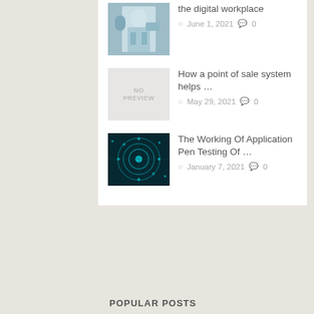the digital workplace — June 1, 2021 — 0 comments
How a point of sale system helps … — May 29, 2021 — 0 comments
The Working Of Application Pen Testing Of … — January 7, 2021 — 0 comments
POPULAR POSTS
[Figure (photo): No Preview placeholder image in popular posts section]